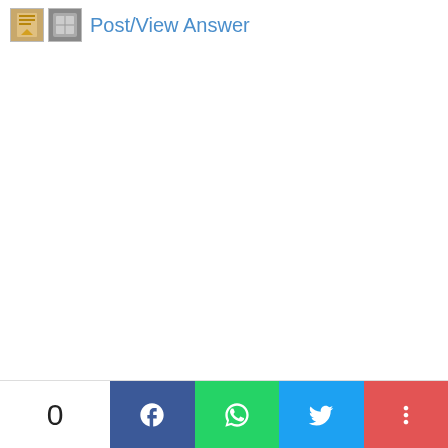Post/View Answer
0  [Facebook] [WhatsApp] [Twitter] [More]